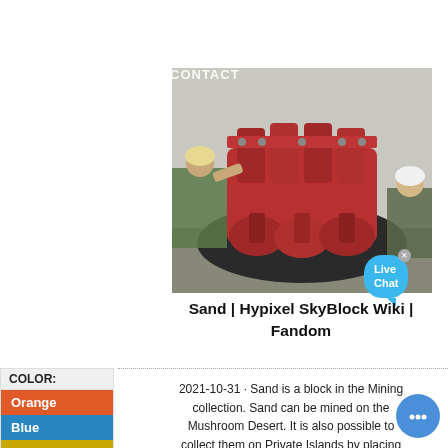SERVICES   WORK  |  ABOUT- CONTACT
[Figure (photo): Workers handling large red industrial machinery/valves equipment outdoors]
Sand | Hypixel SkyBlock Wiki | Fandom
| COLOR: |
| --- |
| Orange |
| Blue |
| Yellow |
2021-10-31 · Sand is a block in the Mining collection. Sand can be mined on the Mushroom Desert. It is also possible to collect them on Private Islands by placing Desert Islands or Pond Islands, and then